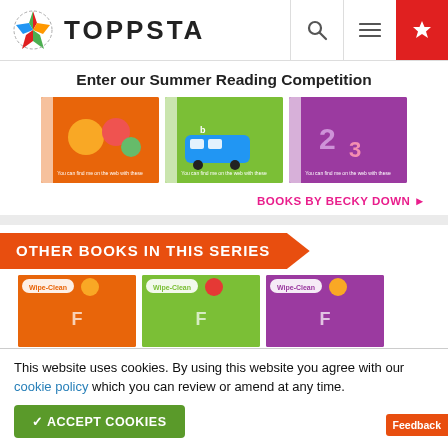TOPPSTA
Enter our Summer Reading Competition
[Figure (photo): Three children's book covers by Becky Down on orange, green, and purple backgrounds]
BOOKS BY BECKY DOWN ▶
OTHER BOOKS IN THIS SERIES
[Figure (photo): Three Wipe-Clean series book covers on orange, green, and purple backgrounds]
This website uses cookies. By using this website you agree with our cookie policy which you can review or amend at any time.
✔ ACCEPT COOKIES
Feedback